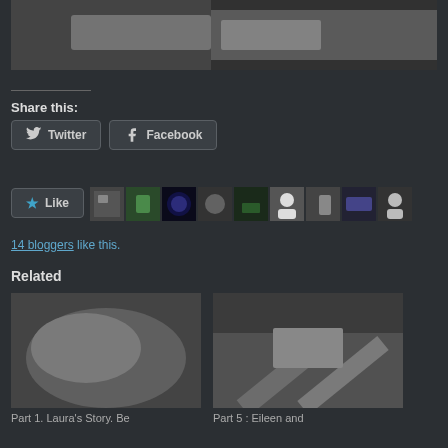[Figure (photo): Black and white photo partially cropped at top, showing fabric/clothing]
Share this:
[Figure (other): Twitter share button]
[Figure (other): Facebook share button]
[Figure (other): Like button with star icon and blogger avatar thumbnails]
14 bloggers like this.
Related
[Figure (photo): Black and white close-up photo related article 1]
Part 1. Laura's Story. Be
[Figure (photo): Black and white photo of legs in stockings and heels, related article 2]
Part 5 : Eileen and